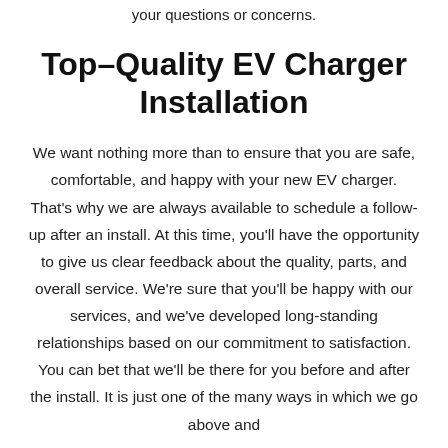your questions or concerns.
Top-Quality EV Charger Installation
We want nothing more than to ensure that you are safe, comfortable, and happy with your new EV charger. That's why we are always available to schedule a follow-up after an install. At this time, you'll have the opportunity to give us clear feedback about the quality, parts, and overall service. We're sure that you'll be happy with our services, and we've developed long-standing relationships based on our commitment to satisfaction. You can bet that we'll be there for you before and after the install. It is just one of the many ways in which we go above and